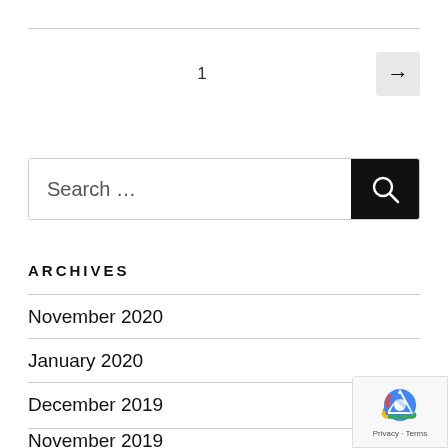1
[Figure (screenshot): Search box with magnifying glass button]
ARCHIVES
November 2020
January 2020
December 2019
November 2019
[Figure (logo): reCAPTCHA badge with Privacy and Terms links]